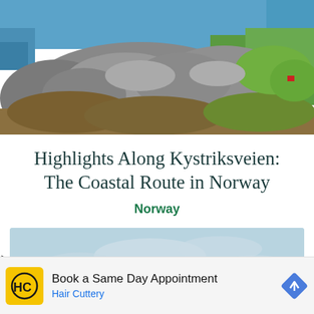[Figure (photo): Aerial view of rocky Norwegian coastal landscape with green fields and blue water (Kystriksveien scenic route)]
Highlights Along Kystriksveien: The Coastal Route in Norway
Norway
[Figure (photo): Partially visible map or panoramic image with light blue sky and clouds, with a chevron/collapse button in the lower left corner]
[Figure (other): Advertisement: Book a Same Day Appointment - Hair Cuttery, with Hair Cuttery logo (yellow background with HC letters) and a blue navigation arrow icon]